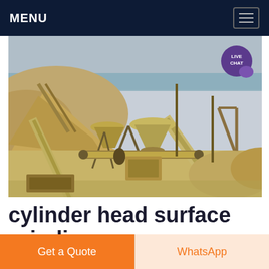MENU
[Figure (photo): Outdoor mining/quarry facility with conveyor belts, crushers, and sand/gravel piles near a beach or coastal area. Industrial machinery including belt conveyors and cone crushers visible.]
cylinder head surface grinding machine
Get a Quote
WhatsApp